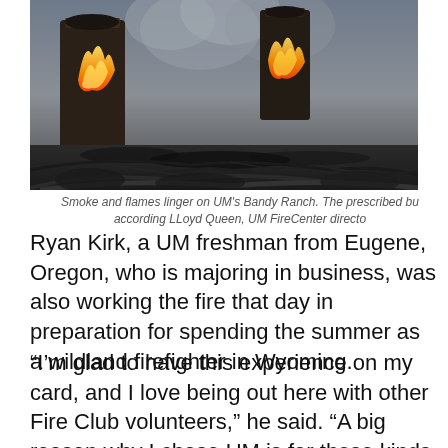[Figure (photo): Smoke and flames linger on burning tree stumps and charred branches at UM's Bandy Ranch during a prescribed burn.]
Smoke and flames linger on UM's Bandy Ranch. The prescribed bu... according LLoyd Queen, UM FireCenter directo...
Ryan Kirk, a UM freshman from Eugene, Oregon, who is majoring in business, was also working the fire that day in preparation for spending the summer as a wildland firefighter in Wyoming.
“I’m glad to have this experience on my card, and I love being out here with other Fire Club volunteers,” he said. “A big reason why I chose UM is for these kinds of experiences. I can’t say working fire is easy